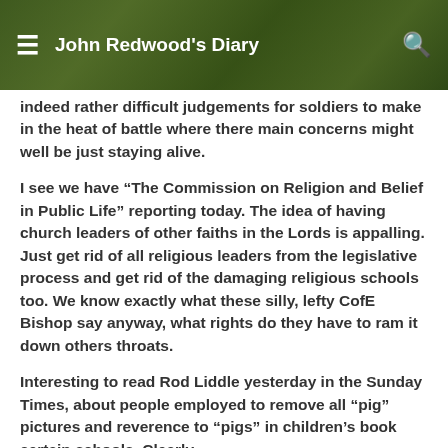John Redwood's Diary
indeed rather difficult judgements for soldiers to make in the heat of battle where there main concerns might well be just staying alive.
I see we have “The Commission on Religion and Belief in Public Life” reporting today. The idea of having church leaders of other faiths in the Lords is appalling. Just get rid of all religious leaders from the legislative process and get rid of the damaging religious schools too. We know exactly what these silly, lefty CofE Bishop say anyway, what rights do they have to ram it down others throats.
Interesting to read Rod Liddle yesterday in the Sunday Times, about people employed to remove all “pig” pictures and reverence to “pigs” in children’s book certain schools. Clearly